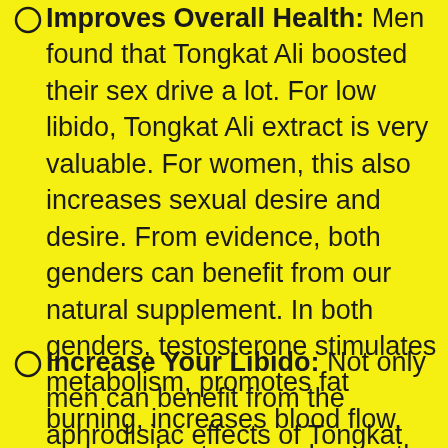Improves Overall Health: Men found that Tongkat Ali boosted their sex drive a lot. For low libido, Tongkat Ali extract is very valuable. For women, this also increases sexual desire and desire. From evidence, both genders can benefit from our natural supplement. In both genders, testosterone stimulates metabolism, promotes fat burning, increases blood flow, and accelerates muscle growth.
Increase Your Libido: Not only men can benefit from the aphrodisiac effects of Tongkat Ali. Regardless of